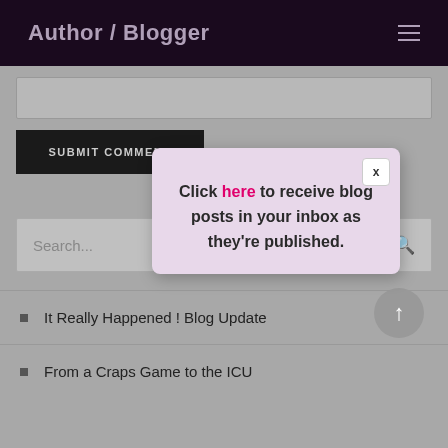Author / Blogger
SUBMIT COMMENT
Search...
[Figure (screenshot): Modal popup with pink/lavender background saying: Click here to receive blog posts in your inbox as they're published. Has an X close button.]
It Really Happened ! Blog Update
From a Craps Game to the ICU